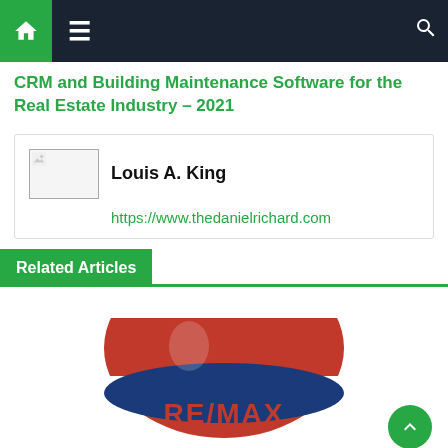Navigation bar with home, menu, and search icons
CRM and Building Maintenance Software for the Real Estate Industry – 2021
Louis A. King
https://www.thedanielrichard.com
Related Articles
[Figure (logo): RE/MAX logo — partial view showing the red and white balloon/arc shape with RE/MAX text in red/blue]